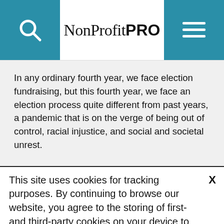NonProfitPRO
In any ordinary fourth year, we face election fundraising, but this fourth year, we face an election process quite different from past years, a pandemic that is on the verge of being out of control, racial injustice, and social and societal unrest.
This site uses cookies for tracking purposes. By continuing to browse our website, you agree to the storing of first- and third-party cookies on your device to enhance site navigation, analyze site usage, and assist in our marketing and
Accept and Close ✕
Your browser settings do not allow cross-site tracking for advertising. Click on this page to allow AdRoll to use cross-site tracking to tailor ads to you. Learn more or opt out of this AdRoll tracking by clicking here. This message only appears once.